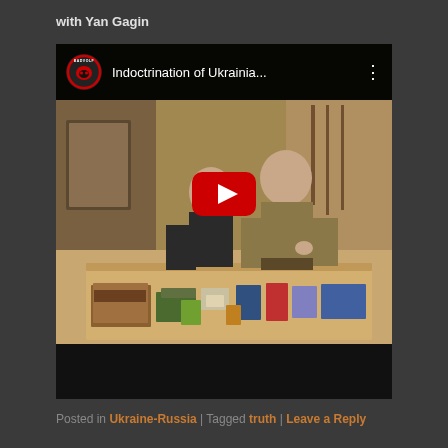with Yan Gagin
[Figure (screenshot): YouTube video embed showing two men (one in black shirt, one in military camo) standing behind a table covered with books and pamphlets in what appears to be a hall. The video title reads 'Indoctrination of Ukrainia...' with a BADVOLF channel logo (red wolf). A red YouTube play button overlay is centered on the video. Below the video thumbnail is a black progress bar area.]
Posted in Ukraine-Russia | Tagged truth | Leave a Reply